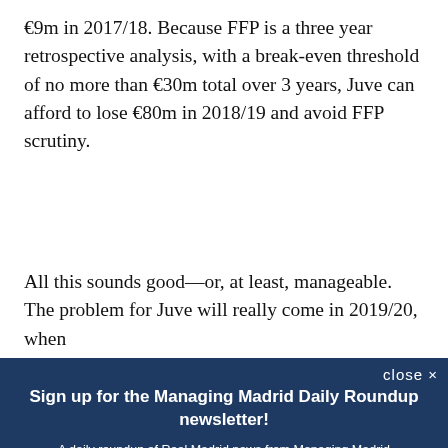€9m in 2017/18. Because FFP is a three year retrospective analysis, with a break-even threshold of no more than €30m total over 3 years, Juve can afford to lose €80m in 2018/19 and avoid FFP scrutiny.
All this sounds good—or, at least, manageable. The problem for Juve will really come in 2019/20, when
[Figure (screenshot): Newsletter signup overlay with dark navy background. Title: 'Sign up for the Managing Madrid Daily Roundup newsletter!' with subtitle 'A daily roundup of Real Madrid news from Managing Madrid'. Contains email input field, SUBSCRIBE button in gold/amber, close X button, and privacy notice text.]